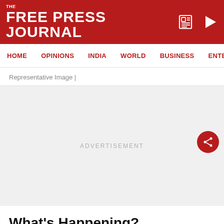THE FREE PRESS JOURNAL
HOME | OPINIONS | INDIA | WORLD | BUSINESS | ENTERTAIN
Representative Image |
[Figure (other): Grey advertisement placeholder area with ADVERTISEMENT label and a red share button on the right side]
What's Happening?